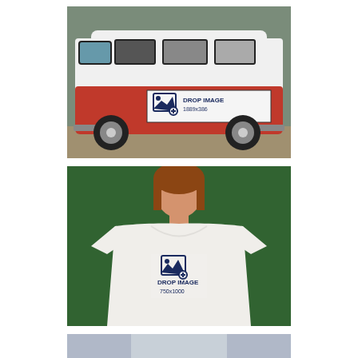[Figure (photo): Mockup of a red and white Volkswagen van with a 'DROP IMAGE 1889x386' placeholder on the side panel, parked outdoors with greenery and a building in the background.]
[Figure (photo): Mockup of a young woman wearing a white t-shirt with a 'DROP IMAGE 750x1000' placeholder on the chest, standing in front of a green hedge wall.]
[Figure (photo): Partial view of a third mockup image cropped at the bottom edge of the page.]